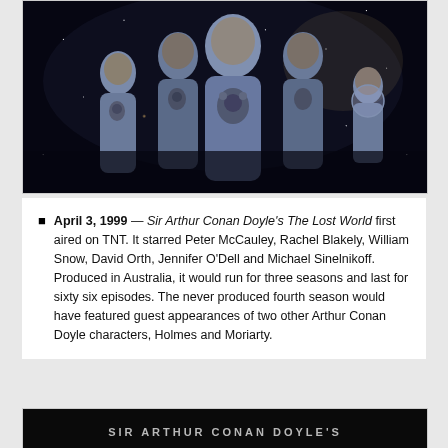[Figure (photo): Promotional photo showing several actors in grey sci-fi spacesuits posed against a dark starfield background]
April 3, 1999 — Sir Arthur Conan Doyle's The Lost World first aired on TNT. It starred Peter McCauley, Rachel Blakely, William Snow, David Orth, Jennifer O'Dell and Michael Sinelnikoff. Produced in Australia, it would run for three seasons and last for sixty six episodes. The never produced fourth season would have featured guest appearances of two other Arthur Conan Doyle characters, Holmes and Moriarty.
[Figure (photo): Bottom portion of a promotional image showing text 'SIR ARTHUR CONAN DOYLE'S' in grey letters on a dark background]